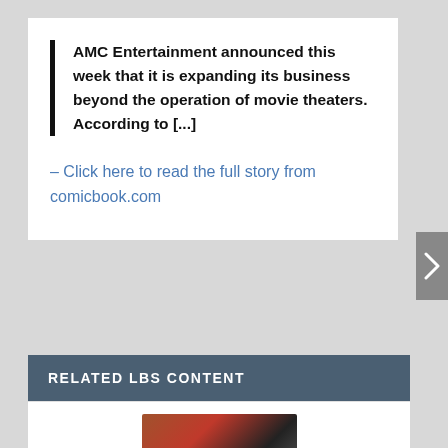AMC Entertainment announced this week that it is expanding its business beyond the operation of movie theaters. According to [...]
– Click here to read the full story from comicbook.com
RELATED LBS CONTENT
[Figure (photo): Partial image visible at the bottom of the page under Related LBS Content section]